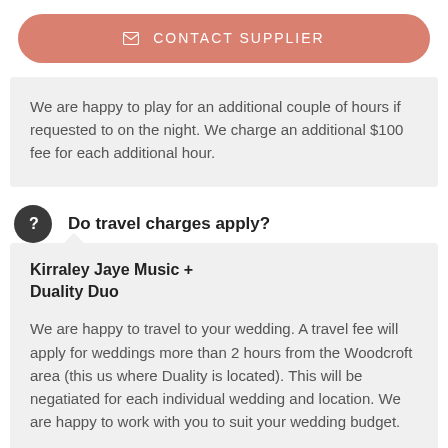✉ CONTACT SUPPLIER
We are happy to play for an additional couple of hours if requested to on the night. We charge an additional $100 fee for each additional hour.
Do travel charges apply?
Kirraley Jaye Music + Duality Duo
We are happy to travel to your wedding. A travel fee will apply for weddings more than 2 hours from the Woodcroft area (this us where Duality is located). This will be negatiated for each individual wedding and location. We are happy to work with you to suit your wedding budget.